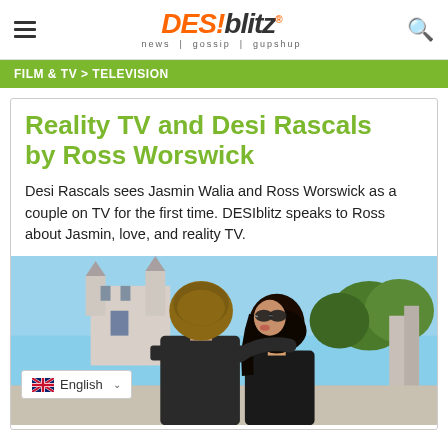DESIblitz — news | gossip | gupshup
FILM & TV > TELEVISION
Reality TV and Desi Rascals by Ross Worswick
Desi Rascals sees Jasmin Walia and Ross Worswick as a couple on TV for the first time. DESIblitz speaks to Ross about Jasmin, love, and reality TV.
[Figure (photo): Photo of a couple kissing outdoors, with a castle and trees in the background, possibly at a theme park.]